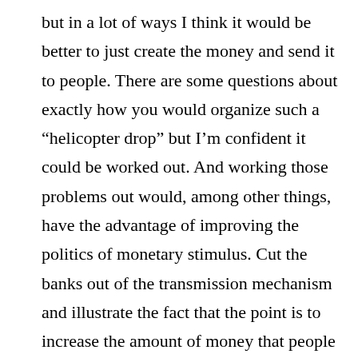but in a lot of ways I think it would be better to just create the money and send it to people. There are some questions about exactly how you would organize such a “helicopter drop” but I’m confident it could be worked out. And working those problems out would, among other things, have the advantage of improving the politics of monetary stimulus. Cut the banks out of the transmission mechanism and illustrate the fact that the point is to increase the amount of money that people have.